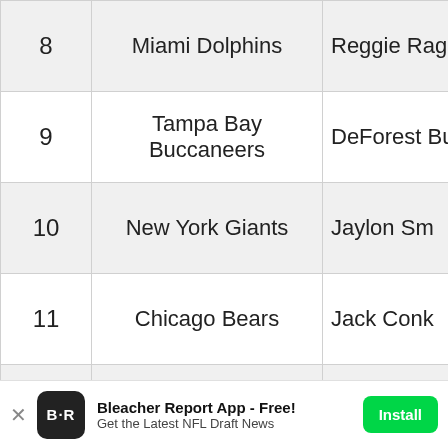| # | Team | Pick |
| --- | --- | --- |
| 8 | Miami Dolphins | Reggie Rag… |
| 9 | Tampa Bay Buccaneers | DeForest Bu… |
| 10 | New York Giants | Jaylon Sm… |
| 11 | Chicago Bears | Jack Conk… |
| 12 | New Orleans Saints | Paxton Lyn… |
| 13 | Philadelphia Eagles | Taylor Dec… |
| 14 | Oakland Raiders | Vernon Hargre… |
Bleacher Report App - Free! Get the Latest NFL Draft News